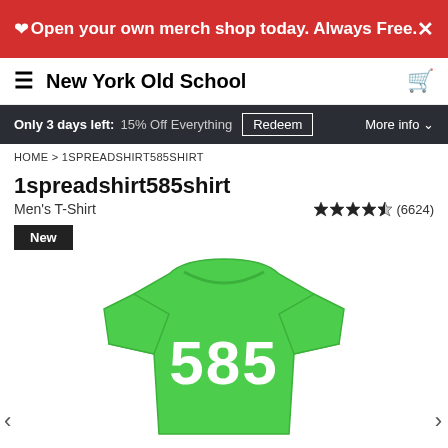Open your own merch shop today. Always Free.
New York Old School
Only 3 days left: 15% Off Everything  Redeem  More info
HOME > 1SPREADSHIRT585SHIRT
1spreadshirt585shirt
Men's T-Shirt
★★★★½ (6624)
New
[Figure (photo): Green men's t-shirt with '585' printed in large white block letters with a green outline on the chest.]